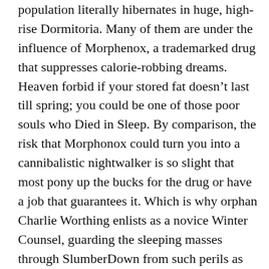population literally hibernates in huge, high-rise Dormitoria. Many of them are under the influence of Morphenox, a trademarked drug that suppresses calorie-robbing dreams. Heaven forbid if your stored fat doesn't last till spring; you could be one of those poor souls who Died in Sleep. By comparison, the risk that Morphonox could turn you into a cannibalistic nightwalker is so slight that most pony up the bucks for the drug or have a job that guarantees it. Which is why orphan Charlie Worthing enlists as a novice Winter Counsel, guarding the sleeping masses through SlumberDown from such perils as maurauding nightwalkers and the fearsome Winterfolk. Adventure awaits, as do subplots and satire aplenty, when Charlie goes searching for the source of a viral dream featuring a blue Buick and